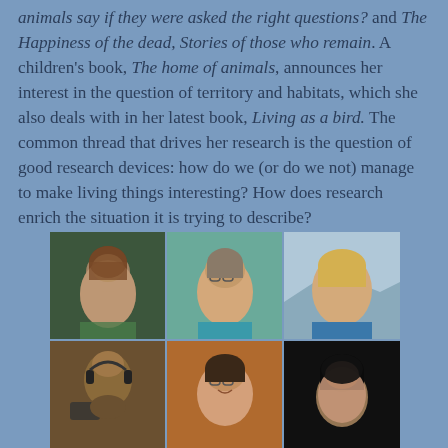animals say if they were asked the right questions? and The Happiness of the dead, Stories of those who remain. A children's book, The home of animals, announces her interest in the question of territory and habitats, which she also deals with in her latest book, Living as a bird. The common thread that drives her research is the question of good research devices: how do we (or do we not) manage to make living things interesting? How does research enrich the situation it is trying to describe?
[Figure (photo): Grid of six portrait photos — three women in top row (brunette in green cardigan, woman with glasses in teal top, blonde woman in blue jacket outdoors), three people in bottom row (person with headphones and camera equipment, woman with glasses outdoors, woman with dark hair).]